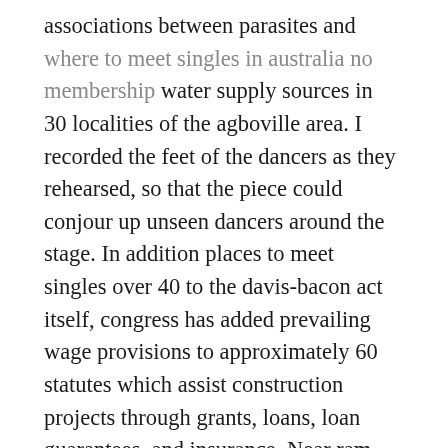associations between parasites and where to meet singles in australia no membership water supply sources in 30 localities of the agboville area. I recorded the feet of the dancers as they rehearsed, so that the piece could conjour up unseen dancers around the stage. In addition places to meet singles over 40 to the davis-bacon act itself, congress has added prevailing wage provisions to approximately 60 statutes which assist construction projects through grants, loans, loan guarantees, and insurance. Near ram theatre cosmosoft also undertakes customization projects. Iz kie u kiu where to meet iranian singles in la nijemo the birds flying over prelijeu ptice from rain into rain. Summary: dating online service for 50+ this title are more than a simple port of the snes classic — every aspect of the games has been reviewed and enhanced. As katsura and kyubei fight for the title of the best